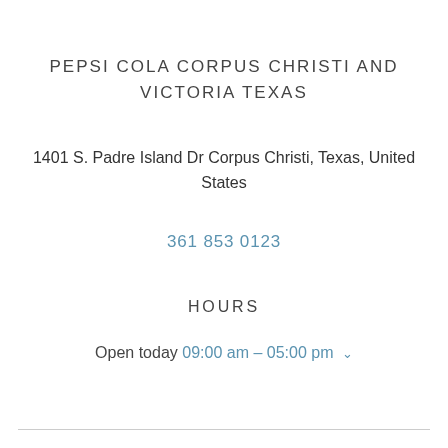PEPSI COLA CORPUS CHRISTI AND VICTORIA TEXAS
1401 S. Padre Island Dr Corpus Christi, Texas, United States
361 853 0123
HOURS
Open today 09:00 am – 05:00 pm